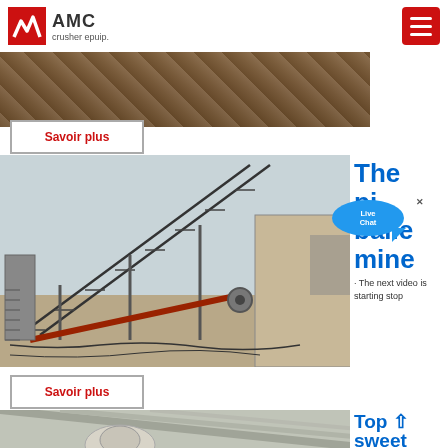[Figure (logo): AMC crusher epuip. logo with red background and white chevron mark]
[Figure (photo): Partial view of rocky/earthy terrain or mining site, cropped at top]
Savoir plus
[Figure (photo): Industrial conveyor belt system at a mining or quarrying site, diagonal conveyor structure with machinery]
The pi balle mine · The next video is starting stop
Savoir plus
[Figure (photo): Interior of industrial building showing mechanical equipment, partially visible at bottom]
Top sweet